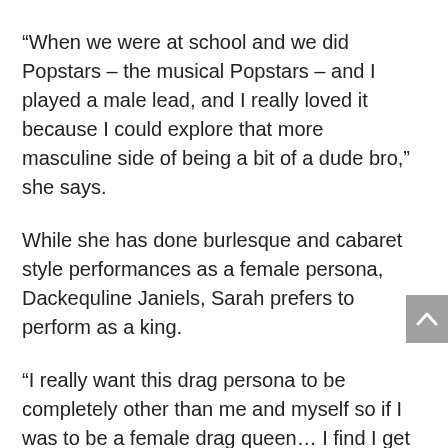“When we were at school and we did Popstars – the musical Popstars – and I played a male lead, and I really loved it because I could explore that more masculine side of being a bit of a dude bro,” she says.
While she has done burlesque and cabaret style performances as a female persona, Dackequline Janiels, Sarah prefers to perform as a king.
“I really want this drag persona to be completely other than me and myself so if I was to be a female drag queen... I find I get too in my head about it, I’m a bit awkward in it,” she adds.
As young female performers Emily and Sarah